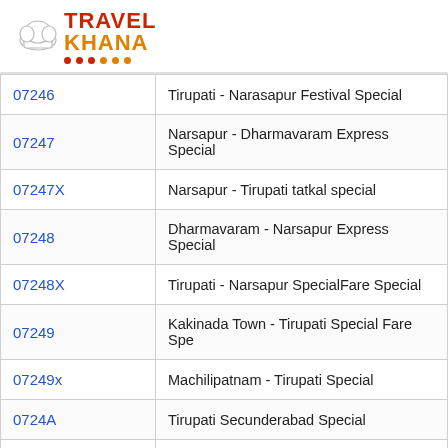[Figure (logo): TravelKhana logo with chef hat icon, red 'TRAVEL' text and orange 'KHANA' text with decorative dots]
| Train Number | Train Name |
| --- | --- |
| 07246 | Tirupati - Narasapur Festival Special |
| 07247 | Narsapur - Dharmavaram Express Special |
| 07247X | Narsapur - Tirupati tatkal special |
| 07248 | Dharmavaram - Narsapur Express Special |
| 07248X | Tirupati - Narsapur SpecialFare Special |
| 07249 | Kakinada Town - Tirupati Special Fare Spe |
| 07249x | Machilipatnam - Tirupati Special |
| 0724A | Tirupati Secunderabad Special |
| 0724B | Tirupati Secunderabad Special |
| 0725 | Kollam Vijayawada Special (UnReserved) |